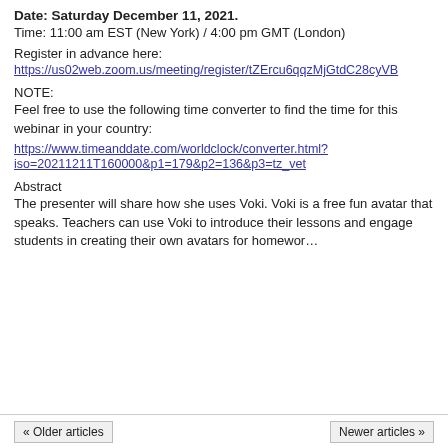Date: Saturday December 11, 2021.
Time: 11:00 am EST (New York) / 4:00 pm GMT (London)
Register in advance here:
https://us02web.zoom.us/meeting/register/tZErcu6qqzMjGtdC28cyVB
NOTE:
Feel free to use the following time converter to find the time for this webinar in your country:
https://www.timeanddate.com/worldclock/converter.html?iso=20211211T160000&p1=179&p2=136&p3=tz_vet
Abstract
The presenter will share how she uses Voki. Voki is a free fun avatar that speaks. Teachers can use Voki to introduce their lessons and engage students in creating their own avatars for homewor...
« Older articles   Newer articles »